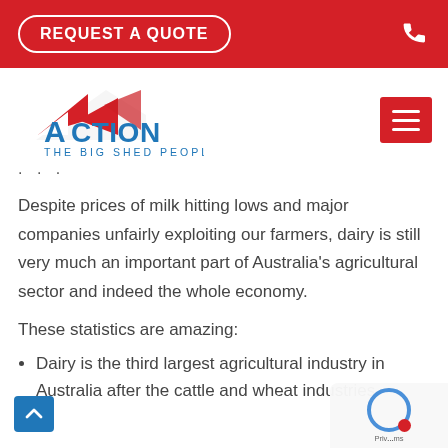REQUEST A QUOTE
[Figure (logo): Action — The Big Shed People logo with red roof shape and blue text]
· · ·
Despite prices of milk hitting lows and major companies unfairly exploiting our farmers, dairy is still very much an important part of Australia's agricultural sector and indeed the whole economy.
These statistics are amazing:
Dairy is the third largest agricultural industry in Australia after the cattle and wheat industries.